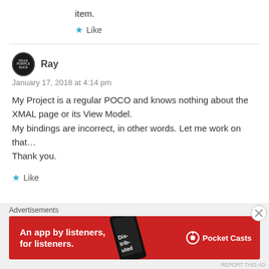item.
★ Like
[Figure (illustration): Circular avatar with dark background and text 'DEAD PURPLE SUCK']
Ray
January 17, 2018 at 4:14 pm
My Project is a regular POCO and knows nothing about the XMAL page or its View Model.
My bindings are incorrect, in other words. Let me work on that…
Thank you.
★ Like
Advertisements
[Figure (screenshot): Pocket Casts red advertisement banner: 'An app by listeners, for listeners.' with phone image and Pocket Casts logo]